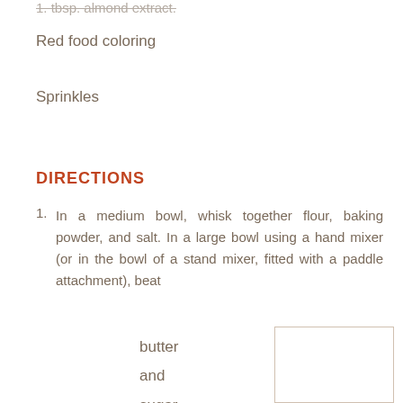Red food coloring
Sprinkles
DIRECTIONS
1. In a medium bowl, whisk together flour, baking powder, and salt. In a large bowl using a hand mixer (or in the bowl of a stand mixer, fitted with a paddle attachment), beat
butter
and
sugar